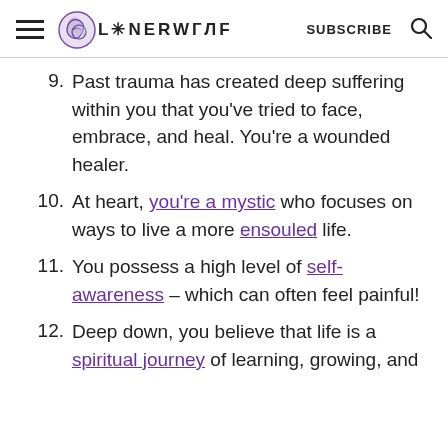LONERWOLF SUBSCRIBE
9. Past trauma has created deep suffering within you that you’ve tried to face, embrace, and heal. You’re a wounded healer.
10. At heart, you’re a mystic who focuses on ways to live a more ensouled life.
11. You possess a high level of self-awareness – which can often feel painful!
12. Deep down, you believe that life is a spiritual journey of learning, growing, and